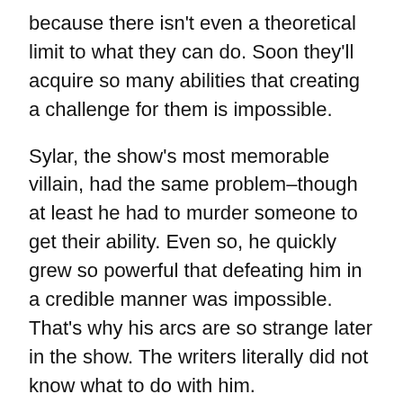because there isn't even a theoretical limit to what they can do. Soon they'll acquire so many abilities that creating a challenge for them is impossible.
Sylar, the show's most memorable villain, had the same problem–though at least he had to murder someone to get their ability. Even so, he quickly grew so powerful that defeating him in a credible manner was impossible. That's why his arcs are so strange later in the show. The writers literally did not know what to do with him.
How to Fix It
Making your characters work like Rogue in the X-